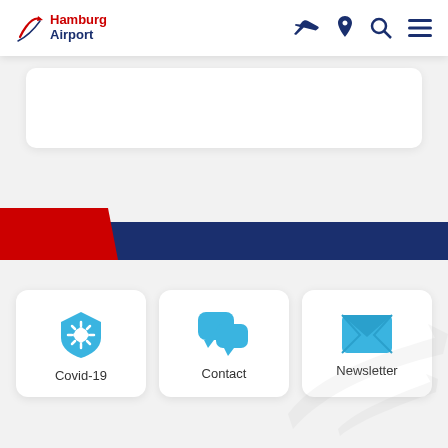Hamburg Airport
[Figure (screenshot): Hamburg Airport website header with logo and navigation icons (plane, map pin, search, menu)]
[Figure (illustration): Red and navy blue decorative banner stripe]
[Figure (infographic): Three white cards: Covid-19 (shield with virus icon), Contact (speech bubbles icon), Newsletter (envelope icon)]